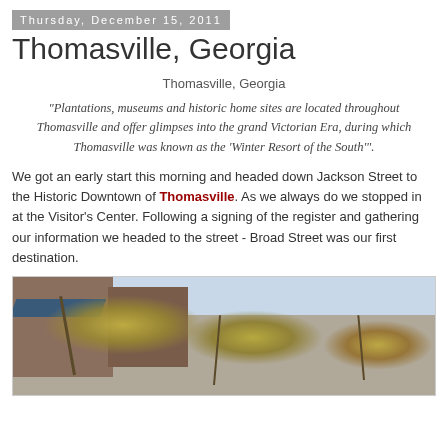Thursday, December 15, 2011
Thomasville, Georgia
Thomasville, Georgia
"Plantations, museums and historic home sites are located throughout Thomasville and offer glimpses into the grand Victorian Era, during which Thomasville was known as the 'Winter Resort of the South'".
We got an early start this morning and headed down Jackson Street to the Historic Downtown of Thomasville. As we always do we stopped in at the Visitor's Center. Following a signing of the register and gathering our information we headed to the street - Broad Street was our first destination.
[Figure (photo): Outdoor photo showing autumn trees with yellow leaves in front of a brick building, with a blue awning or roof visible on the left side.]